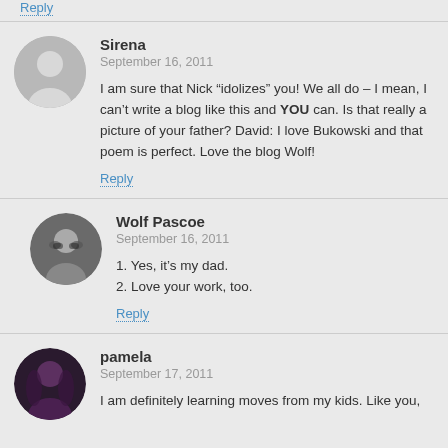Reply
Sirena
September 16, 2011
I am sure that Nick “idolizes” you! We all do – I mean, I can’t write a blog like this and YOU can. Is that really a picture of your father? David: I love Bukowski and that poem is perfect. Love the blog Wolf!
Reply
Wolf Pascoe
September 16, 2011
1. Yes, it’s my dad.
2. Love your work, too.
Reply
pamela
September 17, 2011
I am definitely learning moves from my kids. Like you,